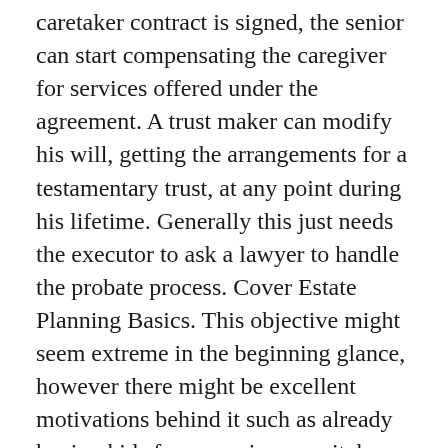caretaker contract is signed, the senior can start compensating the caregiver for services offered under the agreement. A trust maker can modify his will, getting the arrangements for a testamentary trust, at any point during his lifetime. Generally this just needs the executor to ask a lawyer to handle the probate process. Cover Estate Planning Basics. This objective might seem extreme in the beginning glance, however there might be excellent motivations behind it such as already having kids from previous marital relationship, a substantial age difference in spouses, or wishing to provide whatever to charity. Big changes to your life may mean you have to re-write your will however smaller ones such as adding somebody to the recipient list or loan being put in trust instead can be altered by filing a Codicil. Contributing